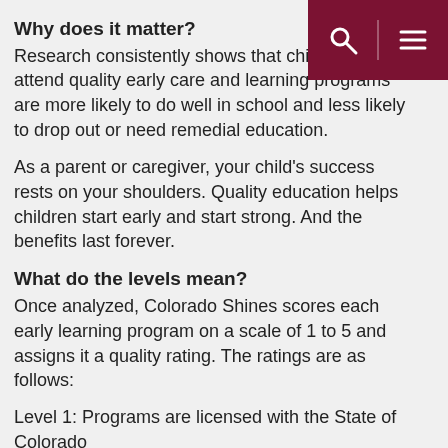Why does it matter?
Research consistently shows that children who attend quality early care and learning programs are more likely to do well in school and less likely to drop out or need remedial education.
As a parent or caregiver, your child's success rests on your shoulders. Quality education helps children start early and start strong. And the benefits last forever.
What do the levels mean?
Once analyzed, Colorado Shines scores each early learning program on a scale of 1 to 5 and assigns it a quality rating. The ratings are as follows:
Level 1: Programs are licensed with the State of Colorado
Level 2: Programs are licensed, in good standing, plus:
have a quality improvement plan in place
have conducted the L2 Quality Indicator Program